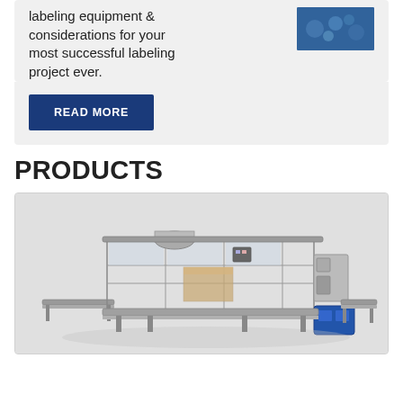labeling equipment & considerations for your most successful labeling project ever.
READ MORE
PRODUCTS
[Figure (photo): Industrial packaging/labeling machine — a large automated case packing or shrink-wrap machine with metal frames, conveyor belts, and blue components, shown as a 3D rendering on a light grey background.]